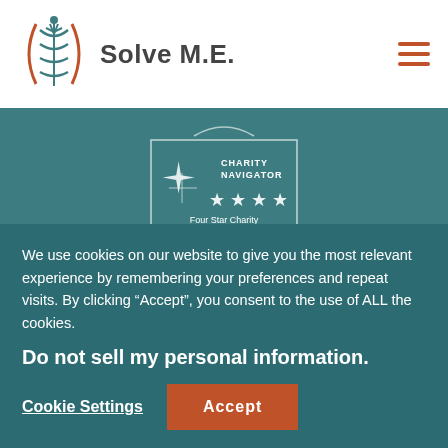[Figure (logo): Solve M.E. logo with DNA helix icon and organization name]
[Figure (logo): Charity Navigator Four Star Charity badge with star icon]
[Figure (illustration): Accessibility icon button - person with arms outstretched in circle]
We use cookies on our website to give you the most relevant experience by remembering your preferences and repeat visits. By clicking “Accept”, you consent to the use of ALL the cookies.
Do not sell my personal information.
Cookie Settings
Accept